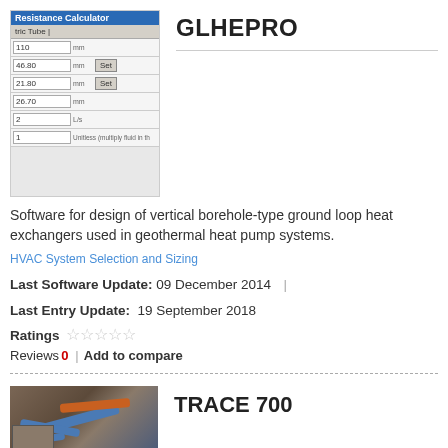[Figure (screenshot): Screenshot of GLHEPRO Resistance Calculator interface showing input fields with values: 110 mm, 46.80 mm (with Set button), 21.80 mm (with Set button), 26.70 mm, 2 L/s, 1 Unitless (multiply fluid in th...)]
GLHEPRO
Software for design of vertical borehole-type ground loop heat exchangers used in geothermal heat pump systems.
HVAC System Selection and Sizing
Last Software Update: 09 December 2014
Last Entry Update: 19 September 2018
Ratings ☆☆☆☆☆
Reviews 0 | Add to compare
[Figure (photo): Photo showing pipes and equipment for TRACE 700, outdoor installation with blue and orange pipes]
TRACE 700